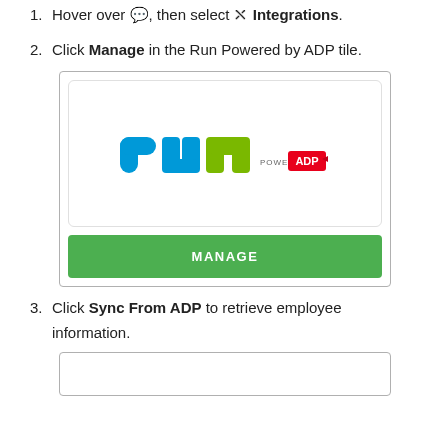1. Hover over [icon], then select [icon] Integrations.
2. Click Manage in the Run Powered by ADP tile.
[Figure (screenshot): Run Powered by ADP tile showing the 'run' logo in blue and green with 'POWERED BY ADP' text, and a green MANAGE button at the bottom.]
3. Click Sync From ADP to retrieve employee information.
[Figure (screenshot): Bottom portion of a UI panel, partially visible.]